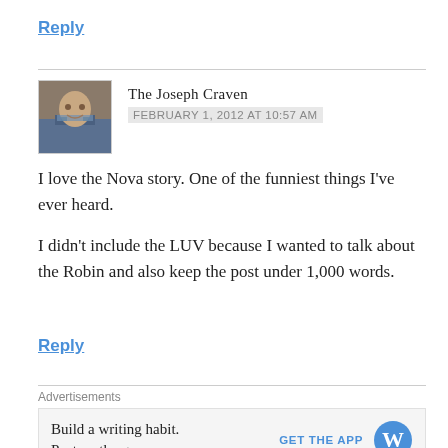Reply
[Figure (photo): Avatar photo of The Joseph Craven — a man in a plaid shirt]
The Joseph Craven
FEBRUARY 1, 2012 AT 10:57 AM
I love the Nova story. One of the funniest things I've ever heard.
I didn't include the LUV because I wanted to talk about the Robin and also keep the post under 1,000 words.
Reply
Advertisements
[Figure (infographic): WordPress app advertisement: 'Build a writing habit. Post on the go.' with GET THE APP button and WordPress logo]